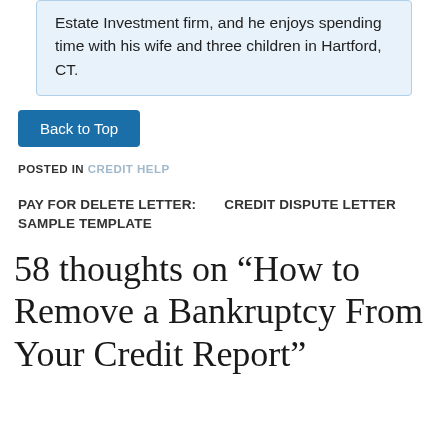Estate Investment firm, and he enjoys spending time with his wife and three children in Hartford, CT.
Back to Top
POSTED IN CREDIT HELP
PAY FOR DELETE LETTER:    CREDIT DISPUTE LETTER SAMPLE TEMPLATE
58 thoughts on “How to Remove a Bankruptcy From Your Credit Report”